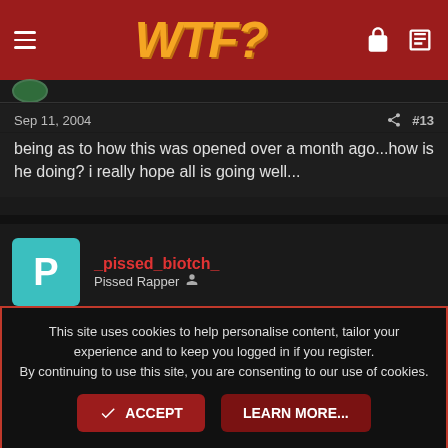WTF?
Sep 11, 2004  #13
being as to how this was opened over a month ago...how is he doing? i really hope all is going well...
_pissed_biotch_
Pissed Rapper
Sep 11, 2004  #14
This site uses cookies to help personalise content, tailor your experience and to keep you logged in if you register.
By continuing to use this site, you are consenting to our use of cookies.